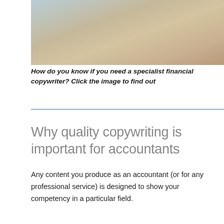[Figure (photo): A man in a white shirt sitting at a desk with an open laptop and a coffee cup, appearing to be working in an office environment]
How do you know if you need a specialist financial copywriter? Click the image to find out
Why quality copywriting is important for accountants
Any content you produce as an accountant (or for any professional service) is designed to show your competency in a particular field.